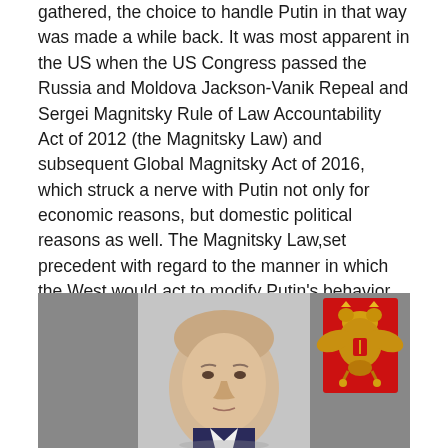gathered, the choice to handle Putin in that way was made a while back. It was most apparent in the US when the US Congress passed the Russia and Moldova Jackson-Vanik Repeal and Sergei Magnitsky Rule of Law Accountability Act of 2012 (the Magnitsky Law) and subsequent Global Magnitsky Act of 2016, which struck a nerve with Putin not only for economic reasons, but domestic political reasons as well. The Magnitsky Law,set precedent with regard to the manner in which the West would act to modify Putin's behavior as well as that of other Russian officials and private citizens. Omnia mala exempla ex rebus bonis orta sunt. (Also, omnia mala exempla orta sunt ex bonis initiis.) (Every bad precedent originated as a justifiable measure.)
[Figure (photo): A photograph of a man (Putin) speaking, with the Russian state emblem (double-headed eagle on red and gold background) visible in the upper right corner. Gray/neutral background.]